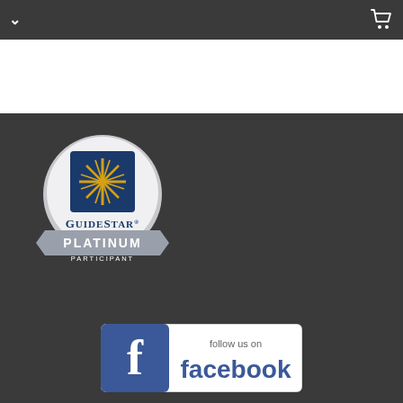Navigation bar with chevron and cart icon
[Figure (logo): GuideStar Platinum Participant badge — circular badge with a blue square containing a gold star burst, text reads GUIDESTAR PLATINUM PARTICIPANT on a grey ribbon banner]
[Figure (logo): Follow us on Facebook button/logo — blue rounded rectangle with Facebook 'f' logo and text 'follow us on facebook']